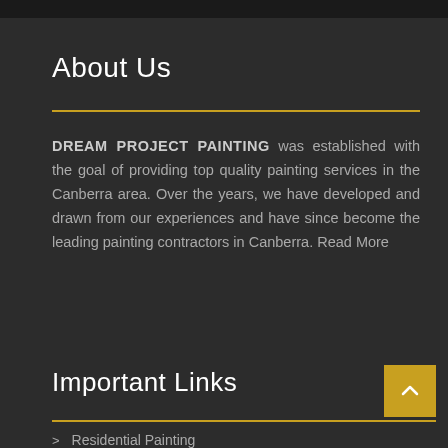About Us
DREAM PROJECT PAINTING was established with the goal of providing top quality painting services in the Canberra area. Over the years, we have developed and drawn from our experiences and have since become the leading painting contractors in Canberra. Read More
Important Links
Residential Painting